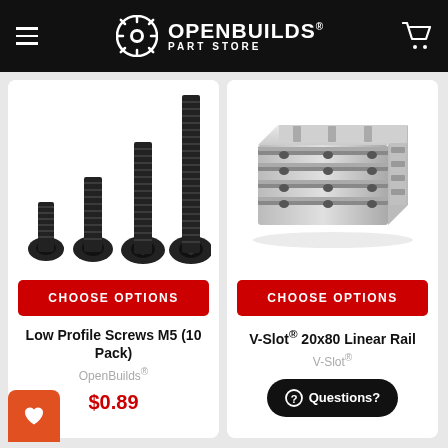OpenBuilds Part Store
[Figure (photo): Four low profile M5 screws of increasing length, black finish, arranged left to right against white background]
CHOOSE OPTIONS
Low Profile Screws M5 (10 Pack)
OpenBuilds®
$0.89
[Figure (photo): V-Slot 20x80 aluminum linear rail extrusion, silver/grey, shown at an angle on white background]
CHOOSE OPTIONS
V-Slot® 20x80 Linear Rail
V-Slot®
Questions?